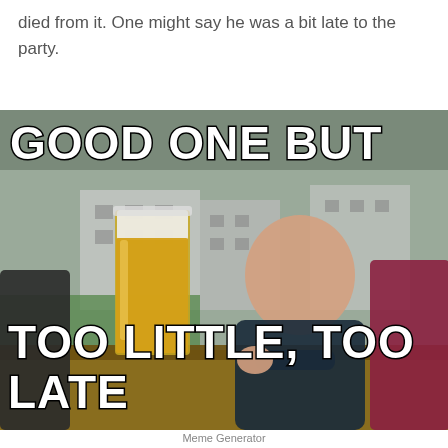died from it. One might say he was a bit late to the party.
[Figure (photo): Meme image of a baby in a dark sweater leaning on a pub table next to a large glass of beer, with adults visible in background. Outdoor setting with buildings. Text overlay reads 'GOOD ONE BUT' at top and 'TOO LITTLE, TOO LATE' at bottom in bold white Impact-style font with black outline.]
Meme Generator